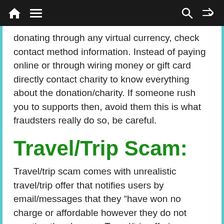[navigation bar with home, menu, search, shuffle icons]
donating through any virtual currency, check contact method information. Instead of paying online or through wiring money or gift card directly contact charity to know everything about the donation/charity. If someone rush you to supports then, avoid them this is what fraudsters really do so, be careful.
Travel/Trip Scam:
Travel/trip scam comes with unrealistic travel/trip offer that notifies users by email/messages that they “have won no charge or affordable however they do not mention the charges. Travel/trip offering scammers do not give specific information about the trip/travel offer. Scammers